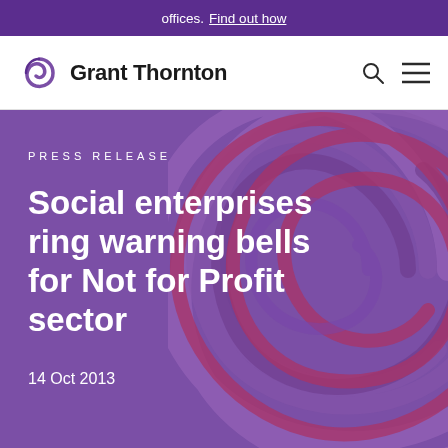offices. Find out how
[Figure (logo): Grant Thornton logo with purple swirl icon and wordmark]
PRESS RELEASE
Social enterprises ring warning bells for Not for Profit sector
14 Oct 2013